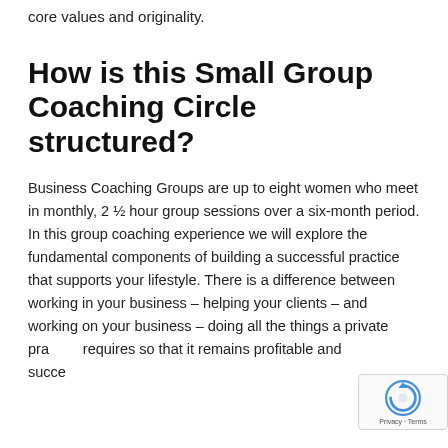core values and originality.
How is this Small Group Coaching Circle structured?
Business Coaching Groups are up to eight women who meet in monthly, 2 ½ hour group sessions over a six-month period. In this group coaching experience we will explore the fundamental components of building a successful practice that supports your lifestyle. There is a difference between working in your business – helping your clients – and working on your business – doing all the things a private practice requires so that it remains profitable and succe…